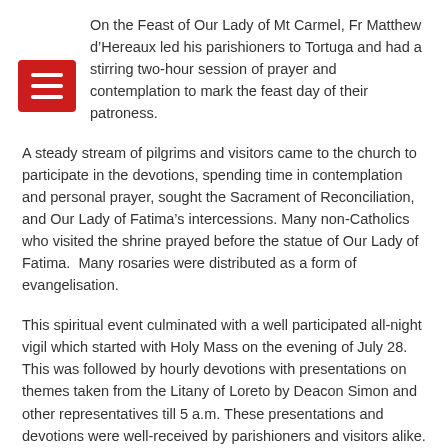On the Feast of Our Lady of Mt Carmel, Fr Matthew d’Hereaux led his parishioners to Tortuga and had a stirring two-hour session of prayer and contemplation to mark the feast day of their patroness.
A steady stream of pilgrims and visitors came to the church to participate in the devotions, spending time in contemplation and personal prayer, sought the Sacrament of Reconciliation, and Our Lady of Fatima’s intercessions. Many non-Catholics who visited the shrine prayed before the statue of Our Lady of Fatima.  Many rosaries were distributed as a form of evangelisation.
This spiritual event culminated with a well participated all-night vigil which started with Holy Mass on the evening of July 28. This was followed by hourly devotions with presentations on themes taken from the Litany of Loreto by Deacon Simon and other representatives till 5 a.m. These presentations and devotions were well-received by parishioners and visitors alike.
At 6 a.m. on Saturday 29, a farewell Mass was concelebrated by Frs Prabhudas and Jose Marie and attended by a full church. A delicious breakfast was served to all present afterwards.
The Sons of Our Lady of Fatima arrived around 8 a.m.to take the statue to Princes Town. The departure was more solemn than the arrival, and a few parishioners shed tears.